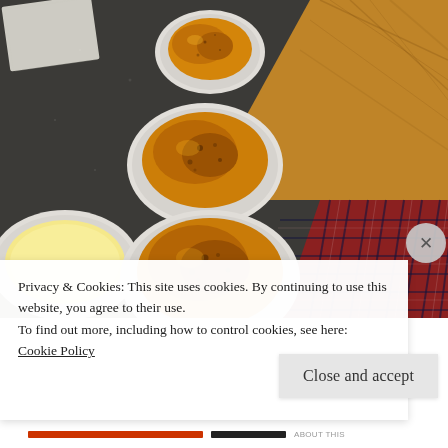[Figure (photo): Overhead view of crème brûlée ramekins with caramelized sugar tops on a dark granite countertop. Three ramekins with browned/torched sugar are visible in the center, one unbrûléed ramekin with pale custard at left. A person wearing red plaid pants is visible at the right edge, and a hardwood floor is visible in the upper right. A paper towel is visible at top left.]
Privacy & Cookies: This site uses cookies. By continuing to use this website, you agree to their use.
To find out more, including how to control cookies, see here: Cookie Policy
Close and accept